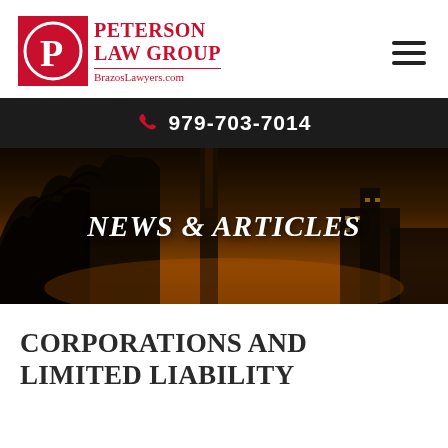[Figure (logo): Peterson Law Group logo with red square background, letter P in circle, and text 'PETERSON LAW GROUP BrazosLawyers.com']
[Figure (other): Hamburger menu icon with three horizontal lines]
979-703-7014
[Figure (photo): Hero banner with dark sunset cityscape background showing trees and buildings at dusk]
NEWS & ARTICLES
CORPORATIONS AND LIMITED LIABILITY